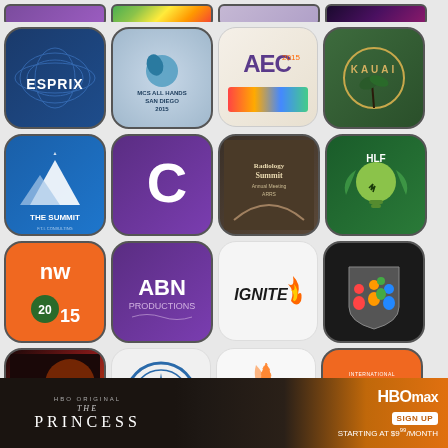[Figure (screenshot): Grid of app icons showing various conference and event apps including ESPRIX, MCS All Hands San Diego 2015, AEC 2015, Kauai, The Summit FTI Consulting, C (purple letter), Radiology Summit ARRS, HLF, nw2015, ABN Productions, Ignite, Group icon, iCon Garra, navigation compass, flower/fireworks icon, International Fundraising, and partial bottom row. An HBO Max advertisement banner overlays the bottom.]